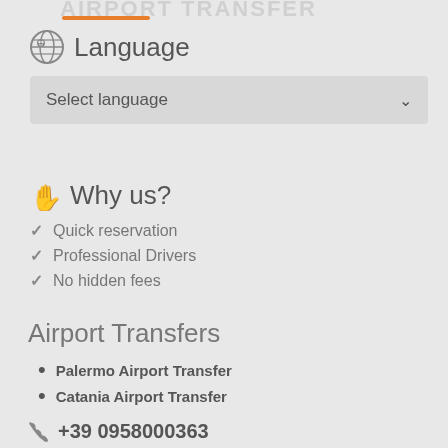AIRPORT TRANSFER
Language
Select language
Why us?
Quick reservation
Professional Drivers
No hidden fees
Airport Transfers
Palermo Airport Transfer
Catania Airport Transfer
+39 0958000363